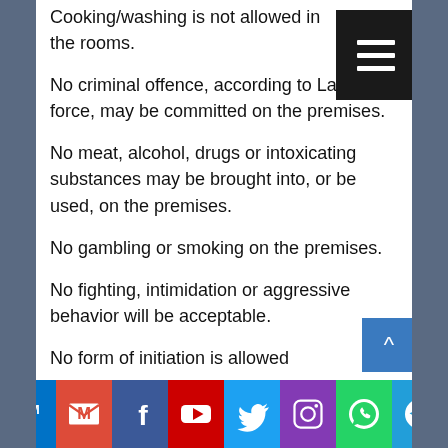Cooking/washing is not allowed in the rooms.
No criminal offence, according to Law in force, may be committed on the premises.
No meat, alcohol, drugs or intoxicating substances may be brought into, or be used, on the premises.
No gambling or smoking on the premises.
No fighting, intimidation or aggressive behavior will be acceptable.
No form of initiation is allowed